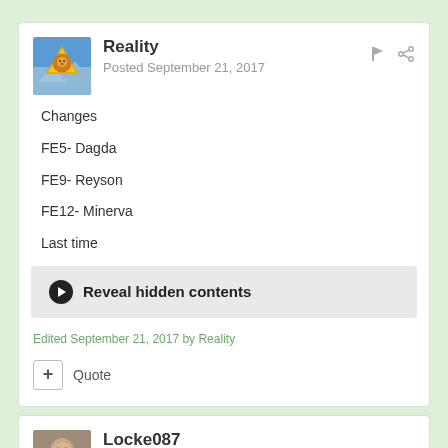[Figure (illustration): User avatar for Reality - yellow warning sign with lion icon, blue sky background]
Reality
Posted September 21, 2017
Changes
FE5- Dagda
FE9- Reyson
FE12- Minerva
Last time
Reveal hidden contents
Edited September 21, 2017 by Reality
Quote
[Figure (photo): User avatar for Locke087 - portrait photo]
Locke087